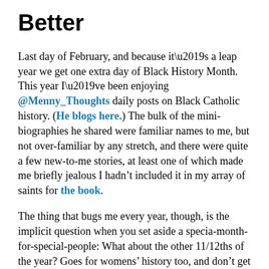Better
Last day of February, and because it’s a leap year we get one extra day of Black History Month.  This year I’ve been enjoying @Menny_Thoughts daily posts on Black Catholic history. (He blogs here.) The bulk of the mini-biographies he shared were familiar names to me, but not over-familiar by any stretch, and there were quite a few new-to-me stories, at least one of which made me briefly jealous I hadn’t included it in my array of saints for the book.
The thing that bugs me every year, though, is the implicit question when you set aside a specia-month-for-special-people: What about the other 11/12ths of the year?  Goes for womens’ history too, and don’t get me started on that one.
It’s a question I asked myself at the start of the